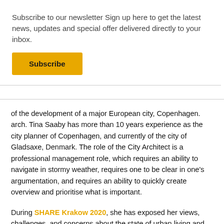Subscribe to our newsletter Sign up here to get the latest news, updates and special offer delivered directly to your inbox.
Subscribe
of the development of a major European city, Copenhagen. arch. Tina Saaby has more than 10 years experience as the city planner of Copenhagen, and currently of the city of Gladsaxe, Denmark. The role of the City Architect is a professional management role, which requires an ability to navigate in stormy weather, requires one to be clear in one's argumentation, and requires an ability to quickly create overview and prioritise what is important.
During SHARE Krakow 2020, she has exposed her views, challenges, and concerns about the state of urban living and how architecture needs to be accounted for. Opening her lecture with a focus on the three big challenges in creating viable cities that